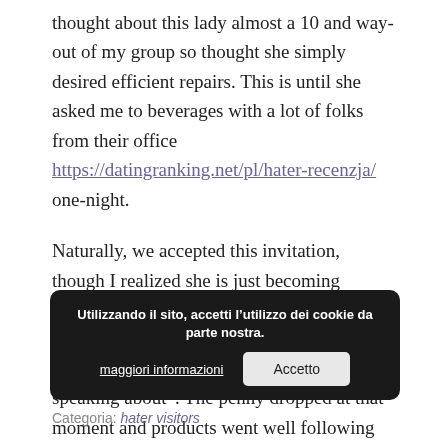thought about this lady almost a 10 and way-out of my group so thought she simply desired efficient repairs. This is until she asked me to beverages with a lot of folks from their office https://datingranking.net/pl/hater-recenzja/ one-night.
Naturally, we accepted this invitation, though I realized she is just becoming friendly. When I arrived, the very first thing certainly one of the girl buddies mentioned was, “So you’re the chap she’s always speaking about”. The penny dropped at that moment and products went well following that.
Utilizzando il sito, accetti l’utilizzo dei cookie da parte nostra. maggiori informazioni | Accetto
Categoria: hater visitors